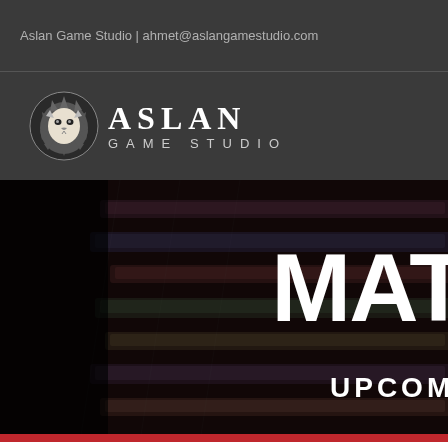Aslan Game Studio | ahmet@aslangamestudio.com
[Figure (logo): Aslan Game Studio logo with lion head icon and text ASLAN GAME STUDIO on dark grey background]
[Figure (photo): Hero banner with blurred slot machine / card game background image, large white bold text 'MAT' (partially visible), and white uppercase text 'UPCOMI' (partially visible). Dark overlay with black left panel.]